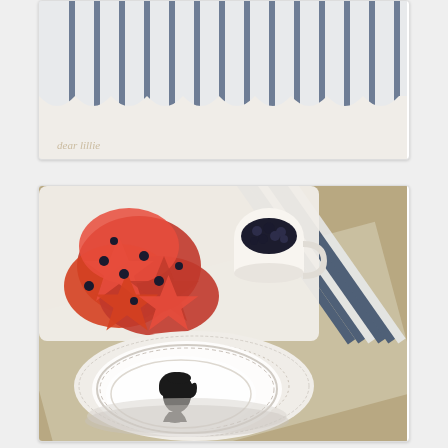[Figure (photo): Top photo showing blue and white striped fabric/pillow/bedding with scalloped edge and 'dear lillie' text watermark in bottom left corner]
[Figure (photo): Bottom photo showing a styled table setting with star-shaped watermelon pieces topped with blueberries on a white serving tray, a white cup filled with blueberries, blue and white striped fabric/napkins, white lace/doily charger plates, and a white plate with a black silhouette cameo profile of a child]